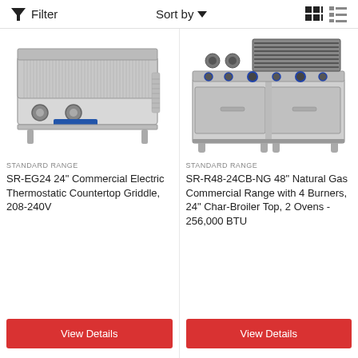Filter   Sort by   [grid view] [list view]
[Figure (photo): SR-EG24 24-inch Commercial Electric Thermostatic Countertop Griddle, stainless steel with two control knobs]
STANDARD RANGE
SR-EG24 24" Commercial Electric Thermostatic Countertop Griddle, 208-240V
View Details
[Figure (photo): SR-R48-24CB-NG 48-inch Natural Gas Commercial Range with 4 burners, 24-inch char-broiler top, 2 ovens, stainless steel]
STANDARD RANGE
SR-R48-24CB-NG 48" Natural Gas Commercial Range with 4 Burners, 24" Char-Broiler Top, 2 Ovens - 256,000 BTU
View Details